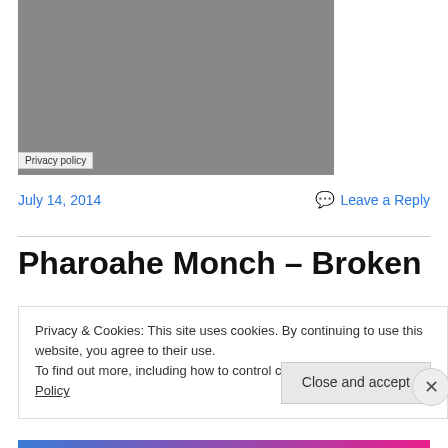[Figure (photo): Gray placeholder image block with Privacy policy badge in lower-left corner]
July 14, 2014
Leave a Reply
Pharoahe Monch – Broken
Privacy & Cookies: This site uses cookies. By continuing to use this website, you agree to their use.
To find out more, including how to control cookies, see here: Cookie Policy
Close and accept